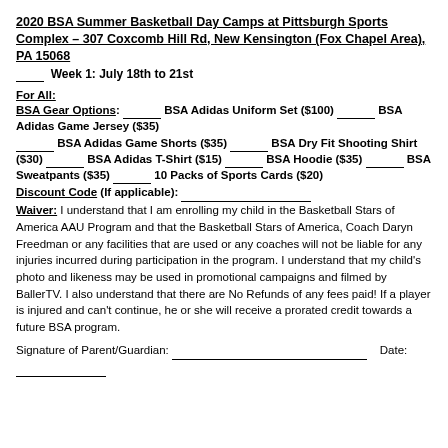2020 BSA Summer Basketball Day Camps at Pittsburgh Sports Complex – 307 Coxcomb Hill Rd, New Kensington (Fox Chapel Area), PA 15068
_____ Week 1: July 18th to 21st
For All:
BSA Gear Options: ____ BSA Adidas Uniform Set ($100) ____ BSA Adidas Game Jersey ($35) ____ BSA Adidas Game Shorts ($35) ____ BSA Dry Fit Shooting Shirt ($30) ____ BSA Adidas T-Shirt ($15) ____ BSA Hoodie ($35) ____ BSA Sweatpants ($35) ____ 10 Packs of Sports Cards ($20)
Discount Code (If applicable): ____________________
Waiver: I understand that I am enrolling my child in the Basketball Stars of America AAU Program and that the Basketball Stars of America, Coach Daryn Freedman or any facilities that are used or any coaches will not be liable for any injuries incurred during participation in the program. I understand that my child's photo and likeness may be used in promotional campaigns and filmed by BallerTV. I also understand that there are No Refunds of any fees paid! If a player is injured and can't continue, he or she will receive a prorated credit towards a future BSA program.
Signature of Parent/Guardian: _________________________________ Date: ______________